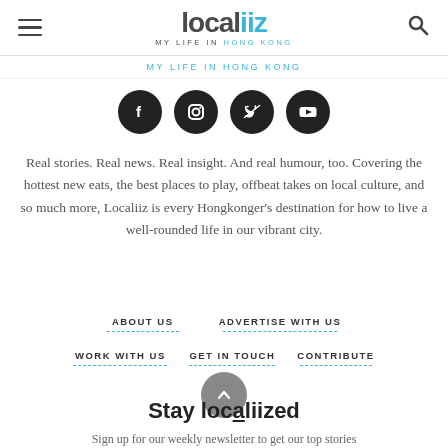localiiz — MY LIFE IN HONG KONG
MY LIFE IN HONG KONG
[Figure (illustration): Four social media icons (Facebook, Instagram, Twitter, YouTube) as white icons on black circles]
Real stories. Real news. Real insight. And real humour, too. Covering the hottest new eats, the best places to play, offbeat takes on local culture, and so much more, Localiiz is every Hongkonger's destination for how to live a well-rounded life in our vibrant city.
ABOUT US
ADVERTISE WITH US
WORK WITH US
GET IN TOUCH
CONTRIBUTE
Stay localiized
Sign up for our weekly newsletter to get our top stories